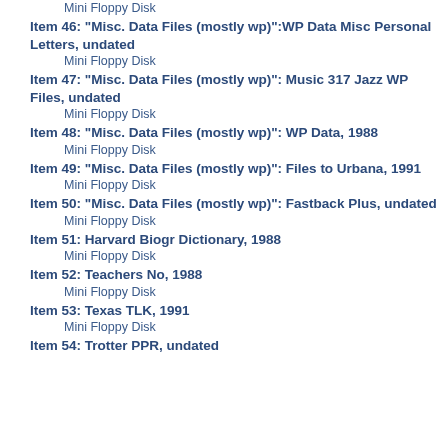Mini Floppy Disk
Item 46: "Misc. Data Files (mostly wp)":WP Data Misc Personal Letters, undated
Mini Floppy Disk
Item 47: "Misc. Data Files (mostly wp)": Music 317 Jazz WP Files, undated
Mini Floppy Disk
Item 48: "Misc. Data Files (mostly wp)": WP Data, 1988
Mini Floppy Disk
Item 49: "Misc. Data Files (mostly wp)": Files to Urbana, 1991
Mini Floppy Disk
Item 50: "Misc. Data Files (mostly wp)": Fastback Plus, undated
Mini Floppy Disk
Item 51: Harvard Biogr Dictionary, 1988
Mini Floppy Disk
Item 52: Teachers No, 1988
Mini Floppy Disk
Item 53: Texas TLK, 1991
Mini Floppy Disk
Item 54: Trotter PPR, undated